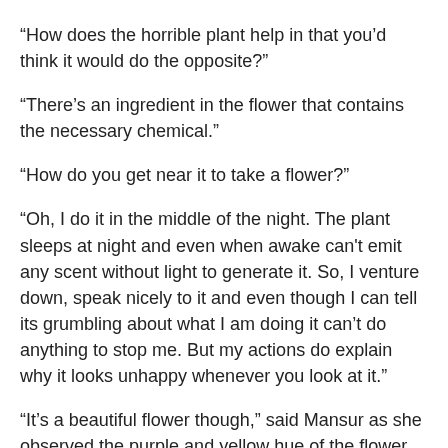“How does the horrible plant help in that you’d think it would do the opposite?”
“There’s an ingredient in the flower that contains the necessary chemical.”
“How do you get near it to take a flower?”
“Oh, I do it in the middle of the night. The plant sleeps at night and even when awake can’t emit any scent without light to generate it. So, I venture down, speak nicely to it and even though I can tell its grumbling about what I am doing it can’t do anything to stop me. But my actions do explain why it looks unhappy whenever you look at it.”
“It’s a beautiful flower though,” said Mansur as she observed the purple and yellow hue of the flower.